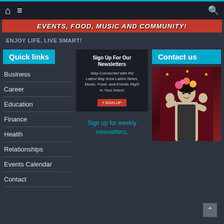Navigation bar with home, menu, and search icons
[Figure (screenshot): Red banner with white bold italic text: EVENTS, FOOD, MUSIC AND COMMUNITY!]
ENJOY LIFE, LIVE SMART!
Quick links
Business
Career
Education
Finance
Health
Relationships
Events Calendar
Contact
[Figure (screenshot): Newsletter signup card: Sign Up For Our Newsletters. Stay Connected with the Latest Bay Area Latino News, Music, Food, and Events Right in Your Inbox! SIGN UP button.]
Sign up for weekly newsletters.
Contact us
[Figure (photo): Woman with flowers in hair holding up hands, colorful floral backdrop]